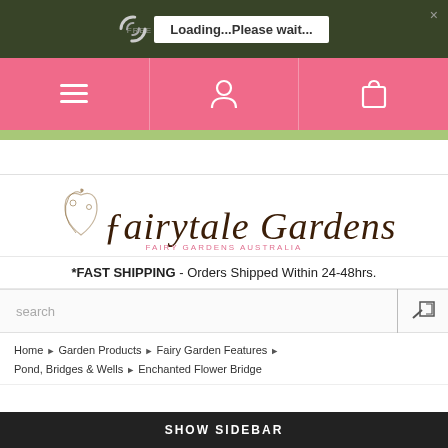WHAT'S HAPPENING: FREE SHIPPING ON ORDERS OVER $250* ...EXCLUSIONS APPLY*
[Figure (screenshot): Loading...Please wait... overlay on dark green banner]
[Figure (screenshot): Pink navigation bar with hamburger menu, user icon, and shopping bag icon]
[Figure (logo): Fairytale Gardens fairy garden Australia logo with floral script text]
*FAST SHIPPING - Orders Shipped Within 24-48hrs.
search
Home › Garden Products › Fairy Garden Features › Pond, Bridges & Wells › Enchanted Flower Bridge
SHOW SIDEBAR